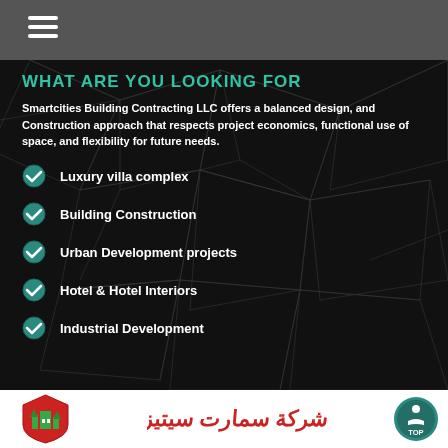Navigation bar with hamburger menu
WHAT ARE YOU LOOKING FOR
Smartcities Building Contracting LLC offers a balanced design, and Construction approach that respects project economics, functional use of space, and flexibility for future needs.
Luxury villa complex
Building Construction
Urban Development projects
Hotel & Hotel Interiors
Industrial Development
[Figure (logo): Smartcities Building Contracting LLC logo - red shield with green building icon on white background]
[Figure (logo): Arabic calligraphy text logo in red on white background]
[Figure (other): Circular TOP button in teal/dark green color]